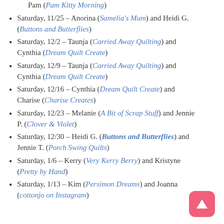Saturday, 11/25 – Anorina (Samelia's Mum) and Heidi G. (Buttons and Butterflies)
Saturday, 12/2 – Taunja (Carried Away Quilting) and Cynthia (Dream Quilt Create)
Saturday, 12/9 – Taunja (Carried Away Quilting) and Cynthia (Dream Quilt Create)
Saturday, 12/16 – Cynthia (Dream Quilt Create) and Charise (Charise Creates)
Saturday, 12/23 – Melanie (A Bit of Scrap Stuff) and Jennie P. (Clover & Violet)
Saturday, 12/30 – Heidi G. (Buttons and Butterflies) and Jennie T. (Porch Swing Quilts)
Saturday, 1/6 – Kerry (Very Kerry Berry) and Kristyne (Pretty by Hand)
Saturday, 1/13 – Kim (Persimon Dreams) and Joanna (cottonjo on Instagram)